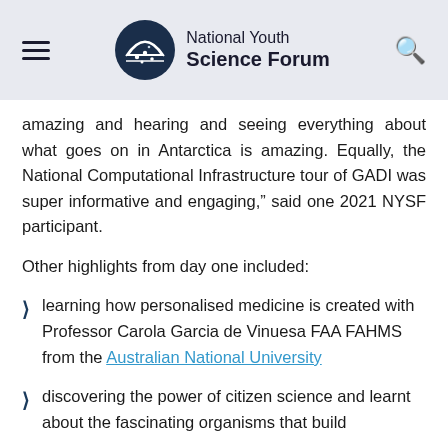[Figure (logo): National Youth Science Forum logo with circular emblem and text]
amazing and hearing and seeing everything about what goes on in Antarctica is amazing. Equally, the National Computational Infrastructure tour of GADI was super informative and engaging," said one 2021 NYSF participant.
Other highlights from day one included:
learning how personalised medicine is created with Professor Carola Garcia de Vinuesa FAA FAHMS from the Australian National University
discovering the power of citizen science and learnt about the fascinating organisms that build